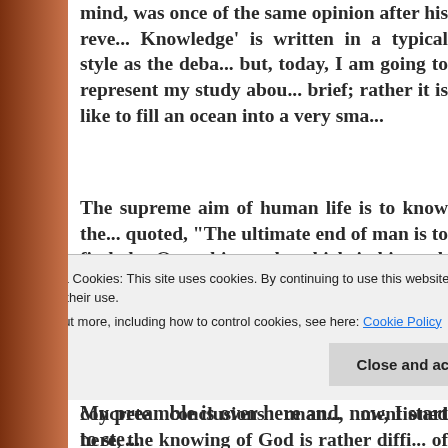mind, was once of the same opinion after his reve... Knowledge' is written in a typical style as the deba... but, today, I am going to represent my study abou... brief; rather it is like to fill an ocean into a very sma...
The supreme aim of human life is to know the... quoted, "The ultimate end of man is to find the Om... his truth, which is his soul, the key with which he o... the heavenly kingdom." Ali Ibn Abu Talib (AS) als... knew his Lord." The man has acquired knowled... profound philosophy of truth regarding God, soul,... yet ended with any concrete conclusions unan... mentioned here, the knowing of God is rather diffi... of the human mind. Somebody has said, "In k... Cosmos, the mind is weakened all the while; Wh... closer to Thee, it surely flees a mile." A Gujara...
Privacy & Cookies: This site uses cookies. By continuing to use this website, you agree to their use. To find out more, including how to control cookies, see here: Cookie Policy
Close and accept
My preamble is over here and, now, I start to ste...